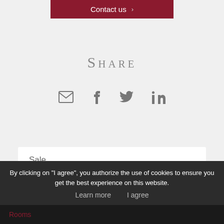[Figure (screenshot): Contact us button with dark red background and right arrow, partially visible at top of page]
Share
[Figure (infographic): Row of four social sharing icons: email envelope, Facebook f, Twitter bird, LinkedIn in]
Sale
By clicking on "I agree", you authorize the use of cookies to ensure you get the best experience on this website.
Learn more    I agree
Rooms